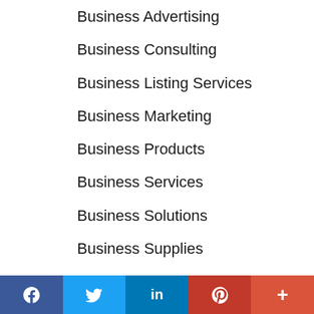Business Advertising
Business Consulting
Business Listing Services
Business Marketing
Business Products
Business Services
Business Solutions
Business Supplies
Businesses - General
Cabinet Showrooms
Cabinets
Campers
Campgrounds
Camping
f  Twitter  in  P  +